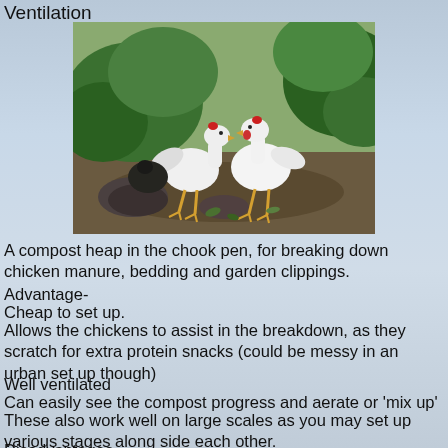Ventilation
[Figure (photo): Two white chickens in a garden/compost area with green leafy plants and dark soil]
A compost heap in the chook pen, for breaking down chicken manure, bedding and garden clippings.
Advantage-
Cheap to set up.
Allows the chickens to assist in the breakdown, as they scratch for extra protein snacks (could be messy in an urban set up though)
Well ventilated
Can easily see the compost progress and aerate or 'mix up'
These also work well on large scales as you may set up various stages along side each other.
Disadvantages
Visible...